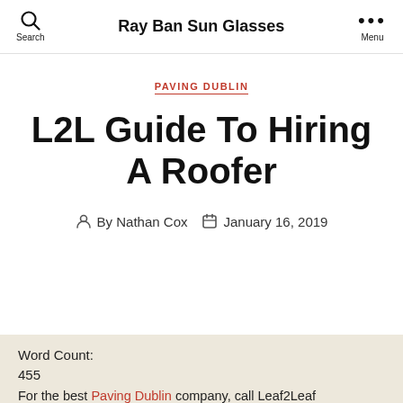Ray Ban Sun Glasses
PAVING DUBLIN
L2L Guide To Hiring A Roofer
By Nathan Cox  January 16, 2019
Word Count:
455
For the best Paving Dublin company, call Leaf2Leaf